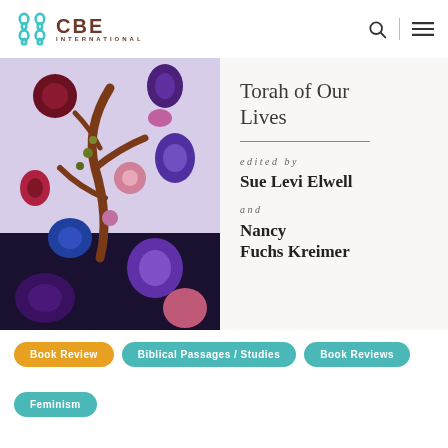CBE INTERNATIONAL
[Figure (photo): Book cover showing decorative floral textile art on left half, and book interior title page on right with text: Torah of Our Lives, edited by Sue Levi Elwell and Nancy Fuchs Kreimer]
Book Review
Biblical Passages / Studies
Book Reviews
Feminism